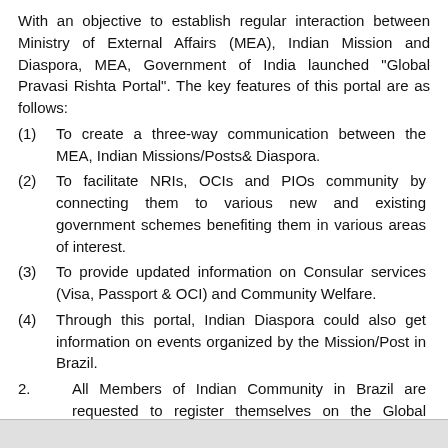With an objective to establish regular interaction between Ministry of External Affairs (MEA), Indian Mission and Diaspora, MEA, Government of India launched "Global Pravasi Rishta Portal". The key features of this portal are as follows:
(1)       To create a three-way communication between the MEA, Indian Missions/Posts& Diaspora.
(2)       To facilitate NRIs, OCIs and PIOs community by connecting them to various new and existing government schemes benefiting them in various areas of interest.
(3)      To provide updated information on Consular services (Visa, Passport & OCI) and Community Welfare.
(4)       Through this portal, Indian Diaspora could also get information on events organized by the Mission/Post in Brazil.
2.         All Members of Indian Community in Brazil are requested to register themselves on the Global Parvasi Rishta Portal. The portal link is: https://pravasirishta.gov.in/home.